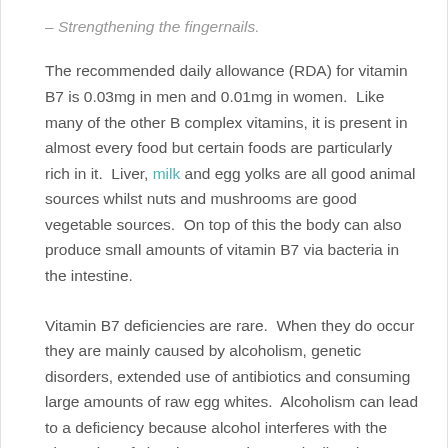– Strengthening the fingernails.
The recommended daily allowance (RDA) for vitamin B7 is 0.03mg in men and 0.01mg in women.  Like many of the other B complex vitamins, it is present in almost every food but certain foods are particularly rich in it.  Liver, milk and egg yolks are all good animal sources whilst nuts and mushrooms are good vegetable sources.  On top of this the body can also produce small amounts of vitamin B7 via bacteria in the intestine.
Vitamin B7 deficiencies are rare.  When they do occur they are mainly caused by alcoholism, genetic disorders, extended use of antibiotics and consuming large amounts of raw egg whites.  Alcoholism can lead to a deficiency because alcohol interferes with the absorption of vitamins.  Certain genetic disorders can also